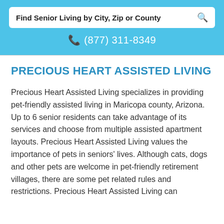Find Senior Living by City, Zip or County
(877) 311-8349
PRECIOUS HEART ASSISTED LIVING
Precious Heart Assisted Living specializes in providing pet-friendly assisted living in Maricopa county, Arizona. Up to 6 senior residents can take advantage of its services and choose from multiple assisted apartment layouts. Precious Heart Assisted Living values the importance of pets in seniors' lives. Although cats, dogs and other pets are welcome in pet-friendly retirement villages, there are some pet related rules and restrictions. Precious Heart Assisted Living can